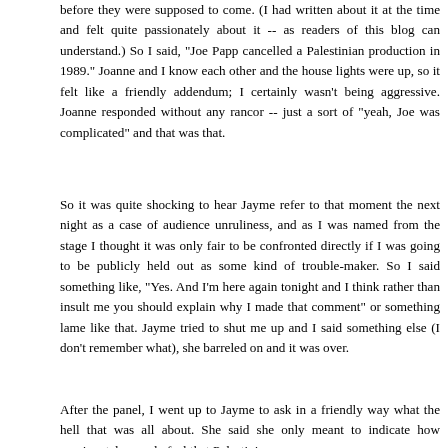before they were supposed to come. (I had written about it at the time and felt quite passionately about it -- as readers of this blog can understand.) So I said, "Joe Papp cancelled a Palestinian production in 1989." Joanne and I know each other and the house lights were up, so it felt like a friendly addendum; I certainly wasn't being aggressive. Joanne responded without any rancor -- just a sort of "yeah, Joe was complicated" and that was that.
So it was quite shocking to hear Jayme refer to that moment the next night as a case of audience unruliness, and as I was named from the stage I thought it was only fair to be confronted directly if I was going to be publicly held out as some kind of trouble-maker. So I said something like, "Yes. And I'm here again tonight and I think rather than insult me you should explain why I made that comment" or something lame like that. Jayme tried to shut me up and I said something else (I don't remember what), she barreled on and it was over.
After the panel, I went up to Jayme to ask in a friendly way what the hell that was all about. She said she only meant to indicate how passionately people feel that Palestinian